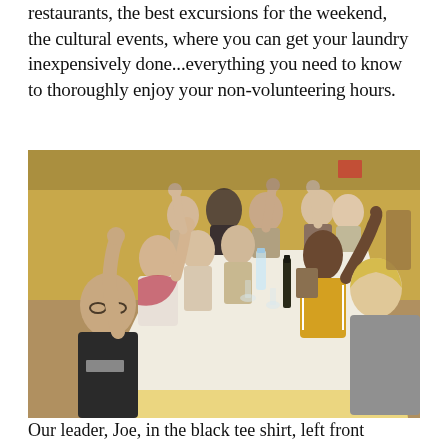restaurants, the best excursions for the weekend, the cultural events, where you can get your laundry inexpensively done...everything you need to know to thoroughly enjoy your non-volunteering hours.
[Figure (photo): Group of volunteers seated around a long table in a restaurant with yellow walls, raising their hands/fists in a celebratory gesture, with glasses and bottles on the table.]
Our leader, Joe, in the black tee shirt, left front